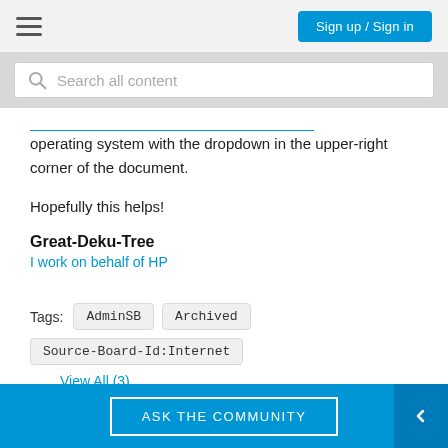Sign up / Sign in
operating system with the dropdown in the upper-right corner of the document.
Hopefully this helps!
Great-Deku-Tree
I work on behalf of HP
Tags: AdminSB  Archived  Source-Board-Id:Internet
View All (3)
ASK THE COMMUNITY